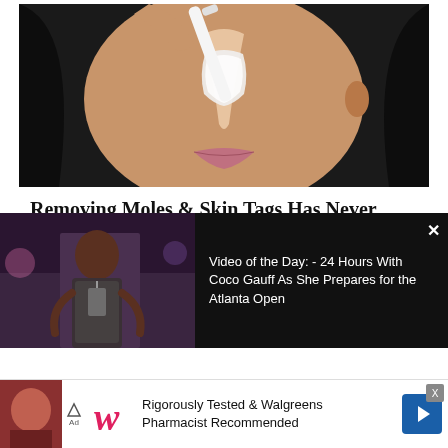[Figure (photo): Close-up photo of a woman applying a white cream or substance to her nose with a small spatula/applicator tool. She has dark hair and is applying a skin treatment product.]
Removing Moles & Skin Tags Has Never Been This Easy
Healthier Living Tips
[Figure (screenshot): Video overlay showing a young Black woman in a room, with text: 'Video of the Day: - 24 Hours With Coco Gauff As She Prepares for the Atlanta Open']
[Figure (photo): Advertisement bar: Rigorously Tested & Walgreens Pharmacist Recommended, with Walgreens W logo and blue arrow icon]